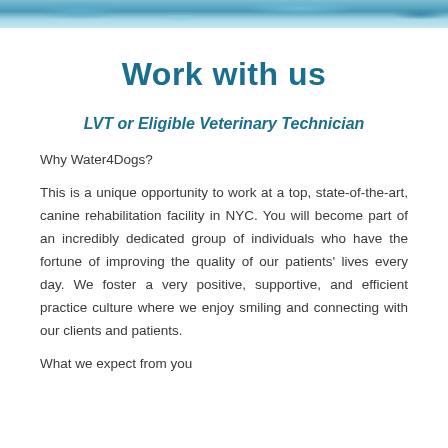[Figure (photo): Decorative header image with water/aquatic background in teal and blue tones]
Work with us
LVT or Eligible Veterinary Technician
Why Water4Dogs?
This is a unique opportunity to work at a top, state-of-the-art, canine rehabilitation facility in NYC. You will become part of an incredibly dedicated group of individuals who have the fortune of improving the quality of our patients' lives every day. We foster a very positive, supportive, and efficient practice culture where we enjoy smiling and connecting with our clients and patients.
What we expect from you